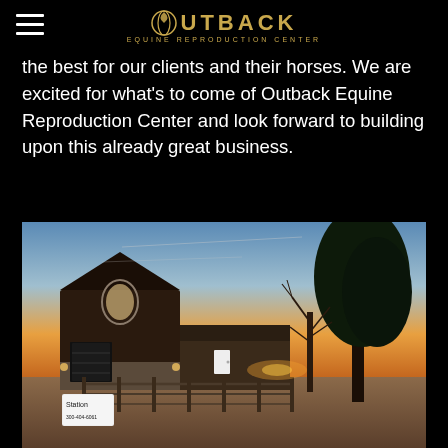OUTBACK — Equine Reproduction Center
the best for our clients and their horses. We are excited for what's to come of Outback Equine Reproduction Center and look forward to building upon this already great business.
[Figure (photo): Exterior photo of Outback Equine Reproduction Center at sunset/dusk. A large dark barn with stone accents and a lit arched window, garage doors, a white door entrance, a fence, and large trees silhouetted against an orange and blue sky. A sign reading 'Station' and a phone number is visible in the lower left.]